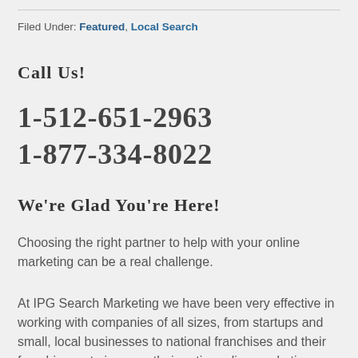Filed Under: Featured, Local Search
Call Us!
1-512-651-2963
1-877-334-8022
We're Glad You're Here!
Choosing the right partner to help with your online marketing can be a real challenge.
At IPG Search Marketing we have been very effective in working with companies of all sizes, from startups and small, local businesses to national franchises and their franchisees, to improve their entire online marketing